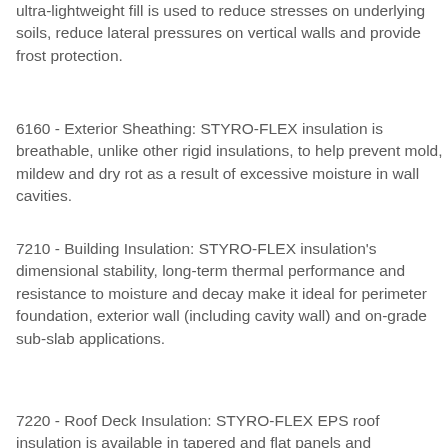ultra-lightweight fill is used to reduce stresses on underlying soils, reduce lateral pressures on vertical walls and provide frost protection.
6160 - Exterior Sheathing: STYRO-FLEX insulation is breathable, unlike other rigid insulations, to help prevent mold, mildew and dry rot as a result of excessive moisture in wall cavities.
7210 - Building Insulation: STYRO-FLEX insulation's dimensional stability, long-term thermal performance and resistance to moisture and decay make it ideal for perimeter foundation, exterior wall (including cavity wall) and on-grade sub-slab applications.
7220 - Roof Deck Insulation: STYRO-FLEX EPS roof insulation is available in tapered and flat panels and